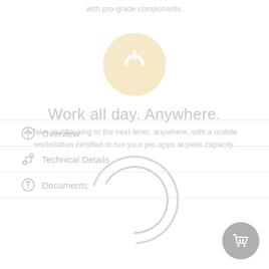with pro-grade components.
[Figure (illustration): Circular power button icon with warm beige/cream background circle and white power symbol in center]
Work all day. Anywhere.
Take multitasking to the next-level, anywhere, with a mobile workstation certified to run your pro apps at peak capacity.
[Figure (illustration): Circular loading/refresh spinner graphic in light gray]
Overview
Technical Details
Documents
[Figure (illustration): Shopping cart button circle in gray at bottom right corner]